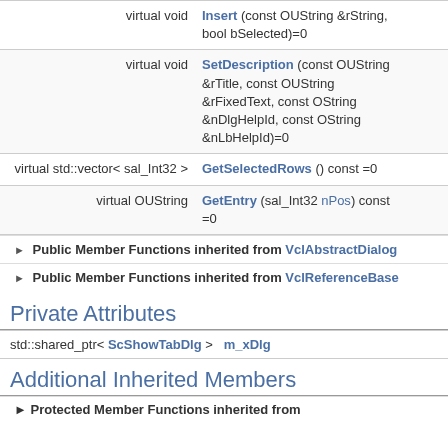| return type | function |
| --- | --- |
| virtual void | Insert (const OUString &rString, bool bSelected)=0 |
| virtual void | SetDescription (const OUString &rTitle, const OUString &rFixedText, const OString &nDlgHelpId, const OString &nLbHelpId)=0 |
| virtual std::vector< sal_Int32 > | GetSelectedRows () const =0 |
| virtual OUString | GetEntry (sal_Int32 nPos) const =0 |
Public Member Functions inherited from VclAbstractDialog
Public Member Functions inherited from VclReferenceBase
Private Attributes
| type | name |
| --- | --- |
| std::shared_ptr< ScShowTabDlg > | m_xDlg |
Additional Inherited Members
Protected Member Functions inherited from